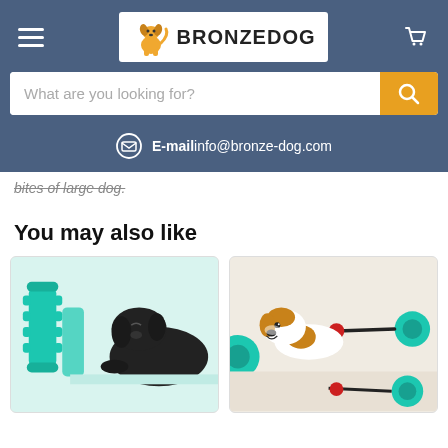BRONZEDOG - navigation header with logo, search bar, and email contact
bites of large dog.
You may also like
[Figure (photo): Product card showing a teal dog chew/toothbrush toy and a black labrador puppy chewing on it, with multiple product angles visible]
[Figure (photo): Product card showing a Jack Russell terrier dog playing with a teal suction cup rope pull toy, with product images below]